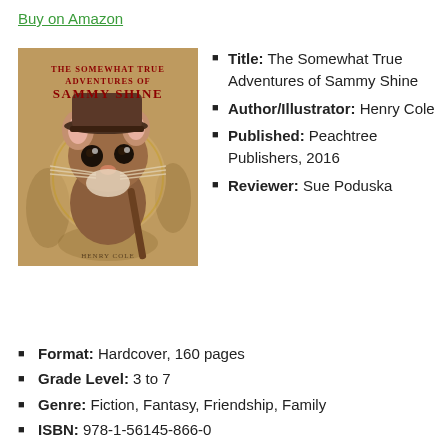Buy on Amazon
[Figure (illustration): Book cover of 'The Somewhat True Adventures of Sammy Shine' by Henry Cole, featuring a painted mouse wearing a hat against a tan/brown decorative background with text in red Art Nouveau style.]
Title: The Somewhat True Adventures of Sammy Shine
Author/Illustrator: Henry Cole
Published: Peachtree Publishers, 2016
Reviewer: Sue Poduska
Format: Hardcover, 160 pages
Grade Level: 3 to 7
Genre: Fiction, Fantasy, Friendship, Family
ISBN: 978-1-56145-866-0